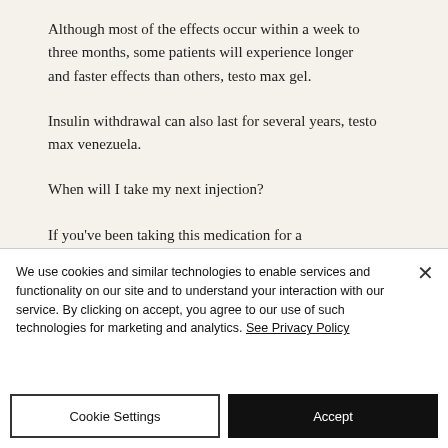Although most of the effects occur within a week to three months, some patients will experience longer and faster effects than others, testo max gel.
Insulin withdrawal can also last for several years, testo max venezuela.
When will I take my next injection?
If you've been taking this medication for a
We use cookies and similar technologies to enable services and functionality on our site and to understand your interaction with our service. By clicking on accept, you agree to our use of such technologies for marketing and analytics. See Privacy Policy